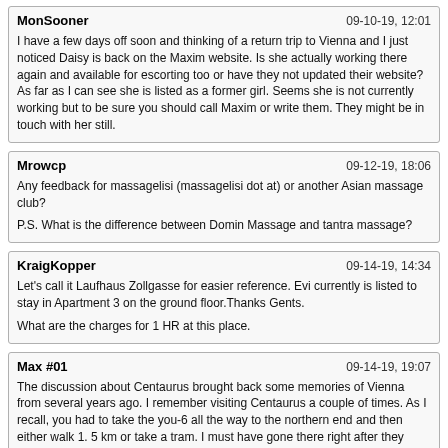MonSooner | 09-10-19, 12:01
I have a few days off soon and thinking of a return trip to Vienna and I just noticed Daisy is back on the Maxim website. Is she actually working there again and available for escorting too or have they not updated their website?As far as I can see she is listed as a former girl. Seems she is not currently working but to be sure you should call Maxim or write them. They might be in touch with her still.
Mrowcp | 09-12-19, 18:06
Any feedback for massagelisi (massagelisi dot at) or another Asian massage club?

P.S. What is the difference between Domin Massage and tantra massage?
KraigKopper | 09-14-19, 14:34
Let's call it Laufhaus Zollgasse for easier reference. Evi currently is listed to stay in Apartment 3 on the ground floor.Thanks Gents.

What are the charges for 1 HR at this place.
Max #01 | 09-14-19, 19:07
The discussion about Centaurus brought back some memories of Vienna from several years ago. I remember visiting Centaurus a couple of times. As I recall, you had to take the you-6 all the way to the northern end and then either walk 1. 5 km or take a tram. I must have gone there right after they opened because I remember how clean and well-kept the club was. There was a large "mingling" room and the session rooms were down a hallway. I don't ever remember going when it was particularly crowded. Perhaps the out-of-the-way location had something to do with the lack of business? I don't remember any